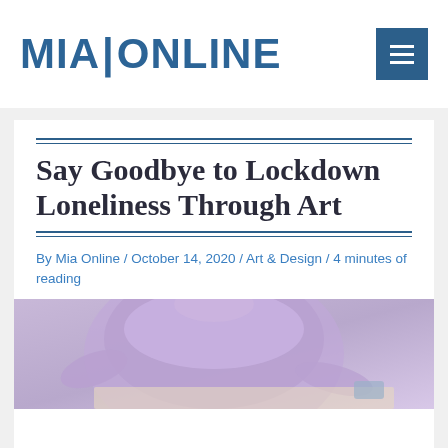MIA|ONLINE
Say Goodbye to Lockdown Loneliness Through Art
By Mia Online / October 14, 2020 / Art & Design / 4 minutes of reading
[Figure (photo): Person in lavender/purple top working at a desk or table, viewed from above/side angle]